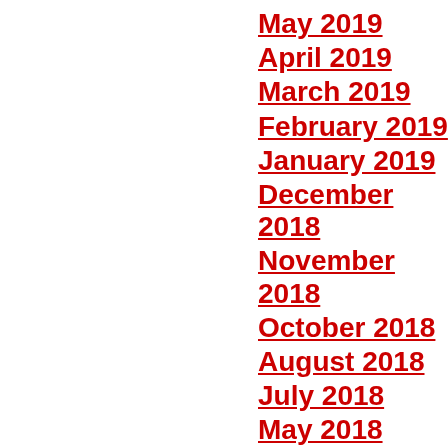May 2019
April 2019
March 2019
February 2019
January 2019
December 2018
November 2018
October 2018
August 2018
July 2018
May 2018
March 2018
February...